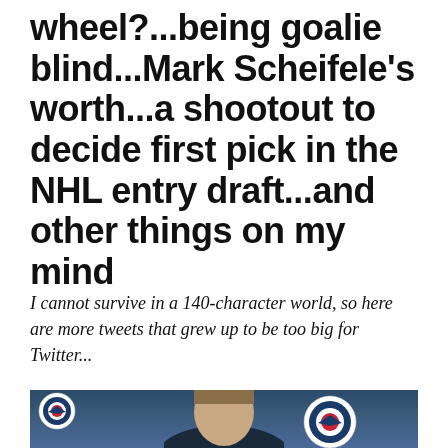wheel?...being goalie blind...Mark Scheifele's worth...a shootout to decide first pick in the NHL entry draft...and other things on my mind
I cannot survive in a 140-character world, so here are more tweets that grew up to be too big for Twitter...
[Figure (photo): Photo of a person at a press conference with Winnipeg Jets logos visible in the background]